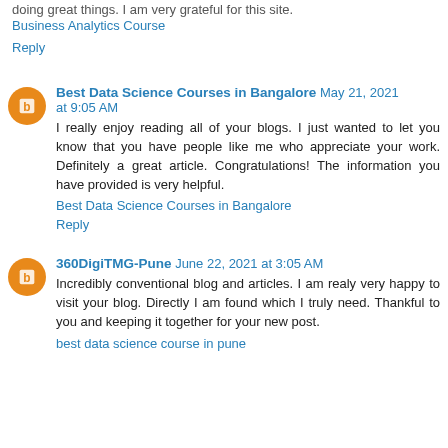doing great things. I am very grateful for this site.
Business Analytics Course
Reply
Best Data Science Courses in Bangalore  May 21, 2021 at 9:05 AM
I really enjoy reading all of your blogs. I just wanted to let you know that you have people like me who appreciate your work. Definitely a great article. Congratulations! The information you have provided is very helpful.
Best Data Science Courses in Bangalore
Reply
360DigiTMG-Pune  June 22, 2021 at 3:05 AM
Incredibly conventional blog and articles. I am realy very happy to visit your blog. Directly I am found which I truly need. Thankful to you and keeping it together for your new post.
best data science course in pune